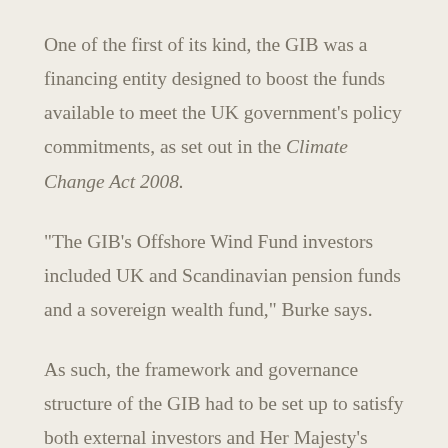One of the first of its kind, the GIB was a financing entity designed to boost the funds available to meet the UK government's policy commitments, as set out in the Climate Change Act 2008.
“The GIB’s Offshore Wind Fund investors included UK and Scandinavian pension funds and a sovereign wealth fund,” Burke says.
As such, the framework and governance structure of the GIB had to be set up to satisfy both external investors and Her Majesty’s Treasury, which had entrusted £3 billion (around A$5 billion) to invest